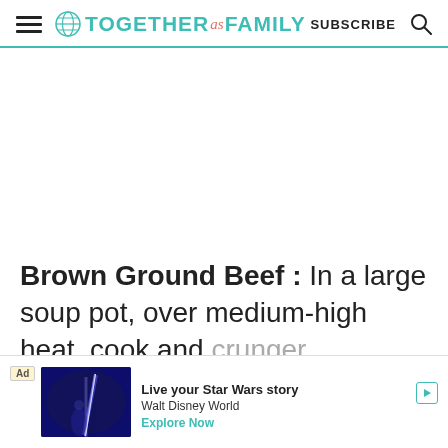Together as Family - SUBSCRIBE
Brown Ground Beef : In a large soup pot, over medium-high heat, cook and crumble ground beef…
[Figure (screenshot): Advertisement overlay: Star Wars themed ad with blue lightsaber image. Text: 'Live your Star Wars story' / 'Walt Disney World' / 'Explore Now']